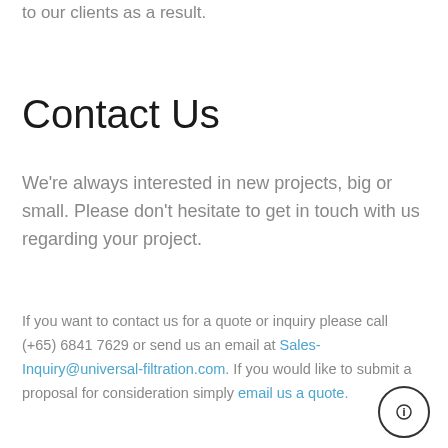to our clients as a result.
Contact Us
We're always interested in new projects, big or small. Please don't hesitate to get in touch with us regarding your project.
If you want to contact us for a quote or inquiry please call (+65) 6841 7629 or send us an email at Sales-Inquiry@universal-filtration.com. If you would like to submit a proposal for consideration simply email us a quote.